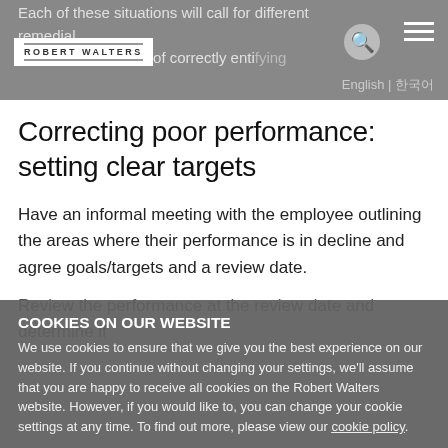Robert Walters | English | 한국어
Each of these situations will call for different remedial … sing the importance of correctly identifying the cause of poor performance.
Correcting poor performance: setting clear targets
Have an informal meeting with the employee outlining the areas where their performance is in decline and agree goals/targets and a review date.
Review the performance at the review date and determine if…
COOKIES ON OUR WEBSITE
We use cookies to ensure that we give you the best experience on our website. If you continue without changing your settings, we'll assume that you are happy to receive all cookies on the Robert Walters website. However, if you would like to, you can change your cookie settings at any time. To find out more, please view our cookie policy.
Ok, I agree | No, give me more information